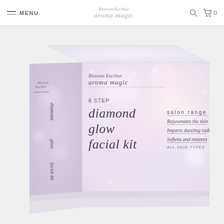MENU | Blossom Kochhar aroma magic | [search] [cart] 0
[Figure (photo): Product box of Blossom Kochhar Aroma Magic 6 Step Diamond Glow Facial Kit. The box has a pearlescent sparkle background in pastel pink/white tones. Front face shows the brand name 'Blossom Kochhar aroma magic', '6 STEP', 'diamond glow facial kit' in large text, and on the right side: 'salon range', 'Rejuvenates the skin', 'Imparts dazzling radiance', 'Softens and restores', 'ALL SKIN TYPES'. The left side panel shows 'Blossom Kochhar aroma magic' and 'diamond glow facial kit' in vertical text.]